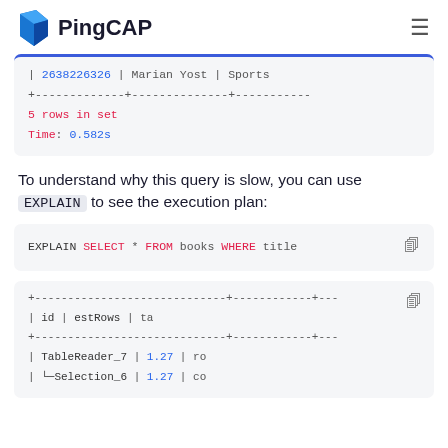PingCAP
| 2638226326 | Marian Yost | Sports
+-------------+--------------+-----------
5 rows in set
Time: 0.582s
To understand why this query is slow, you can use EXPLAIN to see the execution plan:
EXPLAIN SELECT * FROM books WHERE title
+-----------------------------+------------+---
| id                          | estRows    | ta
+-----------------------------+------------+---
| TableReader_7               | 1.27       | ro
| └─Selection_6               | 1.27       | co